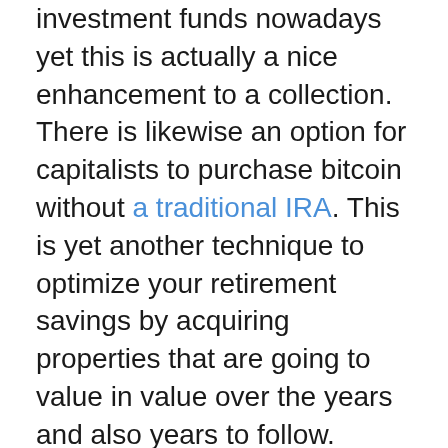investment funds nowadays yet this is actually a nice enhancement to a collection. There is likewise an option for capitalists to purchase bitcoin without a traditional IRA. This is yet another technique to optimize your retirement savings by acquiring properties that are going to value in value over the years and also years to follow.
Goldco Putting in performs provide a variety of alternatives to match any budget and also investing type. They give affordable choices in a variety of investment classifications featuring assets and also connects, gold and silver, plus all major financial investment service providers including TIAACREF, Lead, Charles Schwab, and Admiral Funds. This indicates you can easily have a versatile